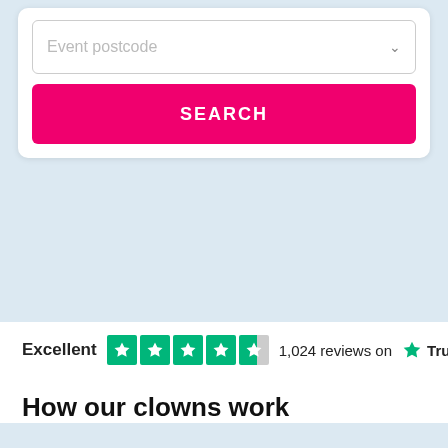[Figure (screenshot): Search form with 'Event postcode' dropdown input and pink SEARCH button]
Excellent   1,024 reviews on  Trustpilot
How our clowns work